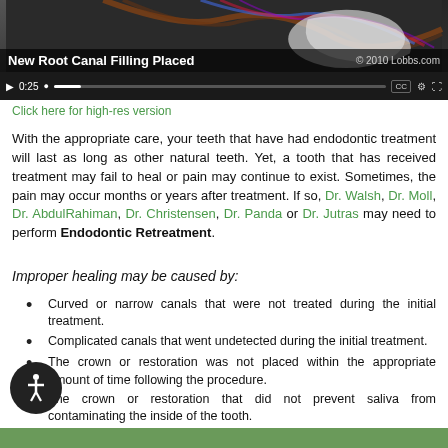[Figure (screenshot): Video player showing 'New Root Canal Filling Placed' with © 2010 Lobbs.com copyright, playback controls showing 0:25 timestamp]
Click here for high-res version
With the appropriate care, your teeth that have had endodontic treatment will last as long as other natural teeth. Yet, a tooth that has received treatment may fail to heal or pain may continue to exist. Sometimes, the pain may occur months or years after treatment. If so, Dr. Walsh, Dr. Moll, Dr. AbdulRahiman, Dr. Christensen, Dr. Panda or Dr. Jutras may need to perform Endodontic Retreatment.
Improper healing may be caused by:
Curved or narrow canals that were not treated during the initial treatment.
Complicated canals that went undetected during the initial treatment.
The crown or restoration was not placed within the appropriate amount of time following the procedure.
The crown or restoration that did not prevent saliva from contaminating the inside of the tooth.